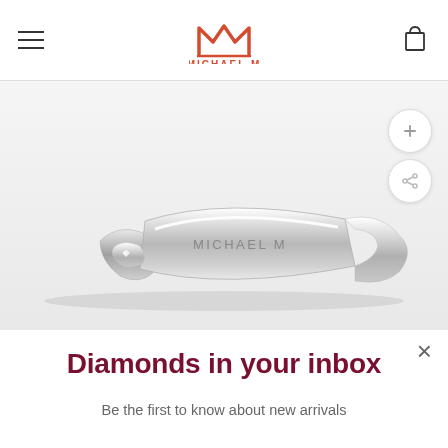MICHAEL M
[Figure (photo): Silver twisted ring/bracelet with 'MICHAEL M' engraved on a flat panel, shown on white background]
Diamonds in your inbox
Be the first to know about new arrivals